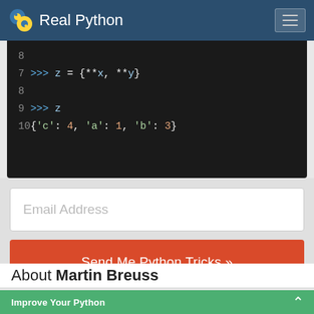Real Python
[Figure (screenshot): Python interactive shell code snippet showing: line 7: >>> z = {**x, **y}, line 8: (blank), line 9: >>> z, line 10: {'c': 4, 'a': 1, 'b': 3}]
Email Address
Send Me Python Tricks »
About Martin Breuss
Improve Your Python